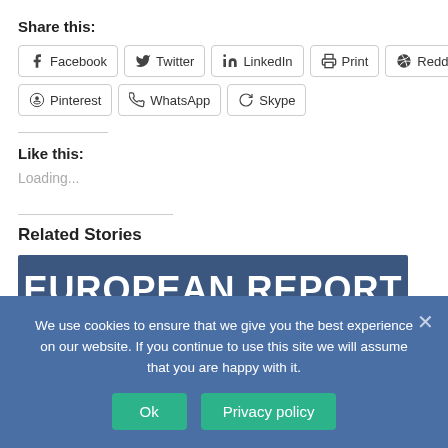Share this:
Facebook
Twitter
LinkedIn
Print
Reddit
Pinterest
WhatsApp
Skype
Like this:
Loading...
Related Stories
[Figure (screenshot): European Report logo image on a dark blue background]
We use cookies to ensure that we give you the best experience on our website. If you continue to use this site we will assume that you are happy with it.